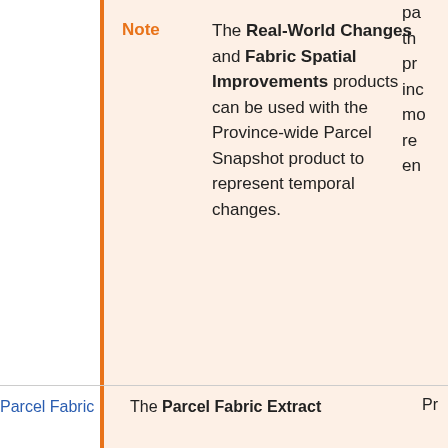Note: The Real-World Changes and Fabric Spatial Improvements products can be used with the Province-wide Parcel Snapshot product to represent temporal changes.
Parcel Fabric  The Parcel Fabric Extract  Pr...